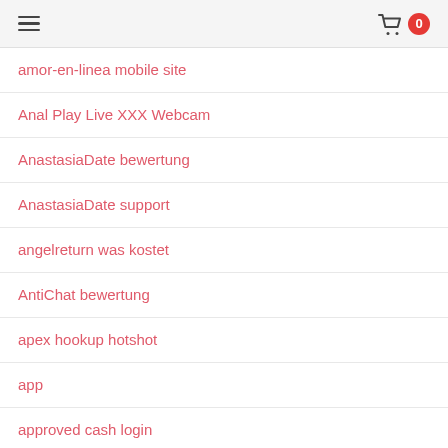≡  🛒 0
amor-en-linea mobile site
Anal Play Live XXX Webcam
AnastasiaDate bewertung
AnastasiaDate support
angelreturn was kostet
AntiChat bewertung
apex hookup hotshot
app
approved cash login
approved cash mobile
arablounge connexion